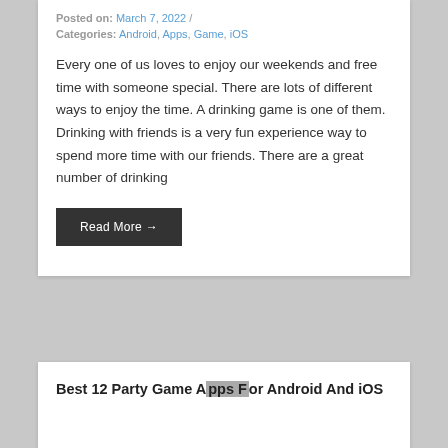Posted on: March 7, 2022 /
Categories: Android, Apps, Game, iOS
Every one of us loves to enjoy our weekends and free time with someone special. There are lots of different ways to enjoy the time. A drinking game is one of them. Drinking with friends is a very fun experience way to spend more time with our friends. There are a great number of drinking
Read More →
Best 12 Party Game Apps For Android And iOS